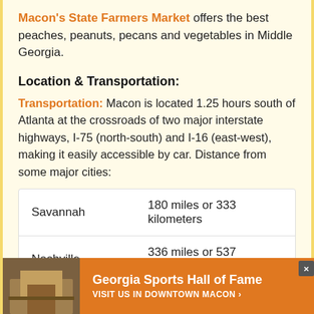Macon's State Farmers Market offers the best peaches, peanuts, pecans and vegetables in Middle Georgia.
Location & Transportation:
Transportation: Macon is located 1.25 hours south of Atlanta at the crossroads of two major interstate highways, I-75 (north-south) and I-16 (east-west), making it easily accessible by car. Distance from some major cities:
| Savannah | 180 miles or 333 kilometers |
| Nashville | 336 miles or 537 kilometers |
| Columbus | 308 miles or 508 kilometers |
[Figure (infographic): Advertisement banner for Georgia Sports Hall of Fame with orange background, building photo on left, and text 'Georgia Sports Hall of Fame VISIT US IN DOWNTOWN MACON ›']